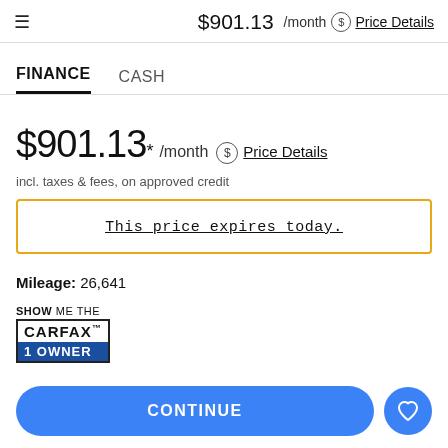≡  $901.13 /month $ Price Details
FINANCE   CASH
$901.13* /month $ Price Details
incl. taxes & fees, on approved credit
This price expires today.
Mileage: 26,641
[Figure (logo): SHOW ME THE CARFAX 1 OWNER badge logo]
CONTINUE